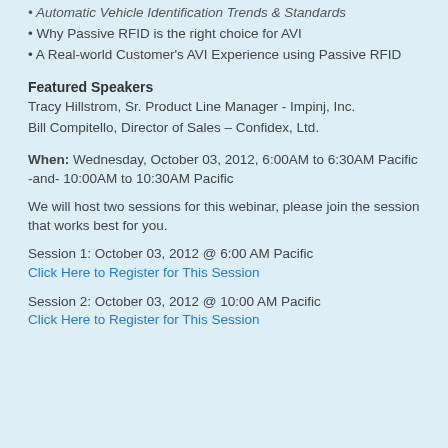• Automatic Vehicle Identification Trends & Standards
• Why Passive RFID is the right choice for AVI
• A Real-world Customer's AVI Experience using Passive RFID
Featured Speakers
Tracy Hillstrom, Sr. Product Line Manager - Impinj, Inc.
Bill Compitello, Director of Sales – Confidex, Ltd.
When: Wednesday, October 03, 2012, 6:00AM to 6:30AM Pacific  -and- 10:00AM to 10:30AM Pacific
We will host two sessions for this webinar, please join the session that works best for you.
Session 1: October 03, 2012 @ 6:00 AM Pacific
Click Here to Register for This Session
Session 2: October 03, 2012 @ 10:00 AM Pacific
Click Here to Register for This Session